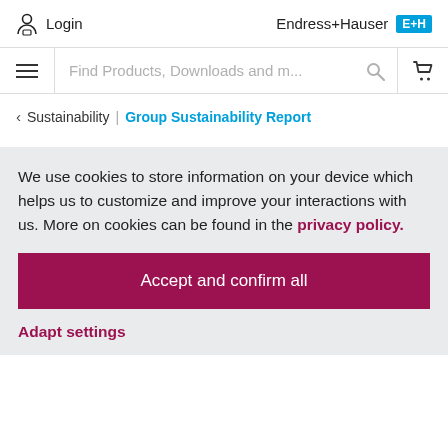Login | Endress+Hauser
Find Products, Downloads and m...
< Sustainability | Group Sustainability Report
We use cookies to store information on your device which helps us to customize and improve your interactions with us. More on cookies can be found in the privacy policy.
Accept and confirm all
Adapt settings